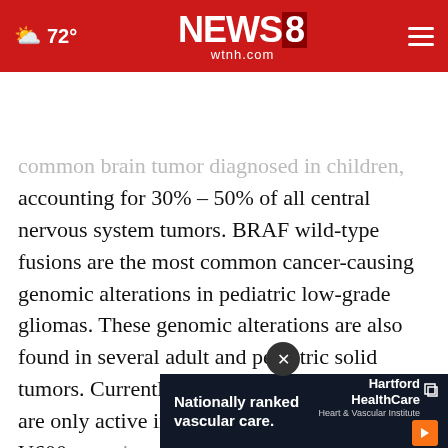72° NEWS8 wtnh.com
common brain tumor diagnosed in children, accounting for 30% – 50% of all central nervous system tumors. BRAF wild-type fusions are the most common cancer-causing genomic alterations in pediatric low-grade gliomas. These genomic alterations are also found in several adult and pediatric solid tumors. Currently approved BRAF inhibitors are only active in tumors harboring BRAF V600 mutations, exhibit limited activity in brain tumors, harboring BRAF fusions.
[Figure (screenshot): Hartford HealthCare Heart & Vascular Institute advertisement banner with text 'Nationally ranked vascular care.' and close button overlay]